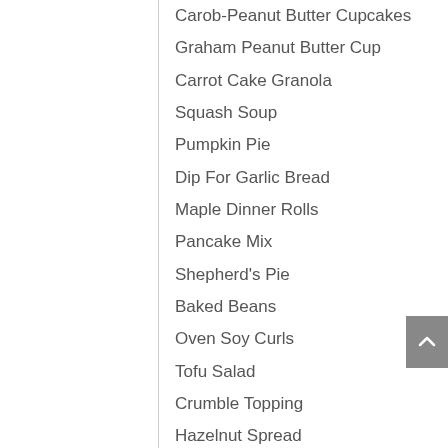Carob-Peanut Butter Cupcakes
Graham Peanut Butter Cup
Carrot Cake Granola
Squash Soup
Pumpkin Pie
Dip For Garlic Bread
Maple Dinner Rolls
Pancake Mix
Shepherd's Pie
Baked Beans
Oven Soy Curls
Tofu Salad
Crumble Topping
Hazelnut Spread
Ranch Herbal Dressing
Pumpkin Caramel Sauce
Cream Cheese
Stir-Fry Sauce